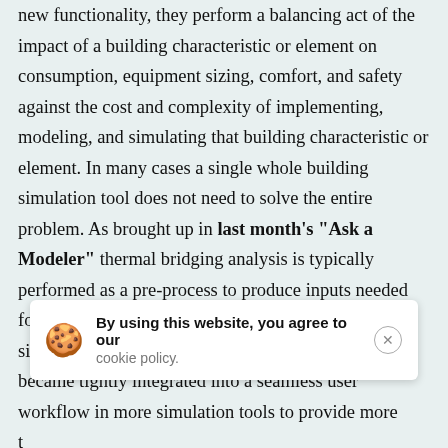new functionality, they perform a balancing act of the impact of a building characteristic or element on consumption, equipment sizing, comfort, and safety against the cost and complexity of implementing, modeling, and simulating that building characteristic or element. In many cases a single whole building simulation tool does not need to solve the entire problem. As brought up in last month's "Ask a Modeler" thermal bridging analysis is typically performed as a pre-process to produce inputs needed for 1D heat transfer in whole building energy simulation engines. Yes, it would be nice if these became tightly integrated into a seamless user workflow in more simulation tools to provide more t... b... these tools together to make the connection. Ground
[Figure (screenshot): Cookie consent banner overlay with cookie emoji icon, bold text 'By using this website, you agree to our cookie policy.' and a close button]